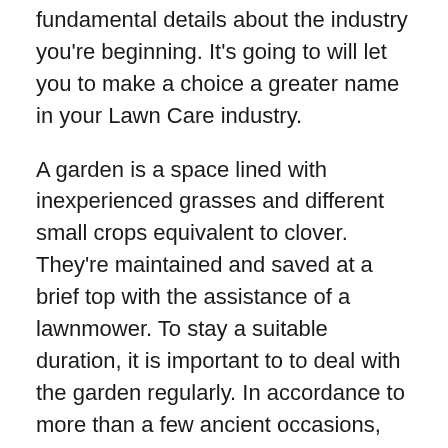fundamental details about the industry you're beginning. It's going to will let you to make a choice a greater name in your Lawn Care industry.
A garden is a space lined with inexperienced grasses and different small crops equivalent to clover. They're maintained and saved at a brief top with the assistance of a lawnmower. To stay a suitable duration, it is important to to deal with the garden regularly. In accordance to more than a few ancient occasions, it's been printed that the time period 'Lawn' has come from the sixteenth century. A garden is principally used to create a classy symbol of a family.
Many consider that even in city spaces, a garden piece is helping people keep up a correspondence with nature. It is helping to stay a herbal setting within the atmosphere. Now, to stay a ravishing garden, it is